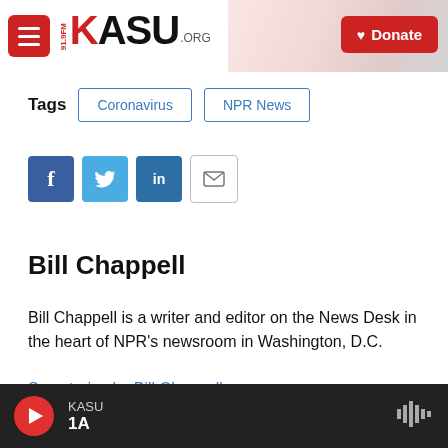91.9FM KASU.ORG | Donate
Tags  Coronavirus  NPR News
[Figure (other): Social share buttons: Facebook, Twitter, LinkedIn, Email]
Bill Chappell
Bill Chappell is a writer and editor on the News Desk in the heart of NPR's newsroom in Washington, D.C.
See stories by Bill Chappell
KASU 1A